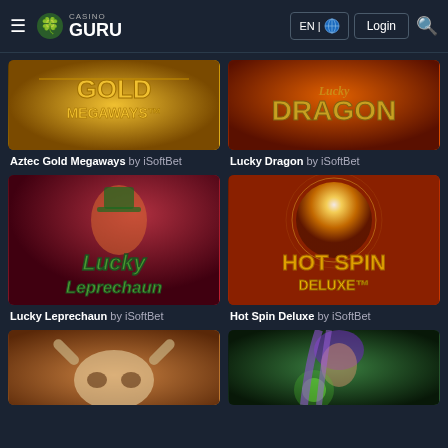Casino Guru — EN | Login | Search
[Figure (screenshot): Aztec Gold Megaways game thumbnail by iSoftBet — golden Aztec themed slot]
Aztec Gold Megaways by iSoftBet
[Figure (screenshot): Lucky Dragon game thumbnail by iSoftBet — red/orange dragon themed slot]
Lucky Dragon by iSoftBet
[Figure (screenshot): Lucky Leprechaun game thumbnail by iSoftBet — green leprechaun character on red background]
Lucky Leprechaun by iSoftBet
[Figure (screenshot): Hot Spin Deluxe game thumbnail by iSoftBet — glowing sun/circle on orange-red background]
Hot Spin Deluxe by iSoftBet
[Figure (screenshot): Bull skull/longhorn game thumbnail — desert themed slot, partially visible]
[Figure (screenshot): Witch with purple hair and green magic — dark themed slot, partially visible]